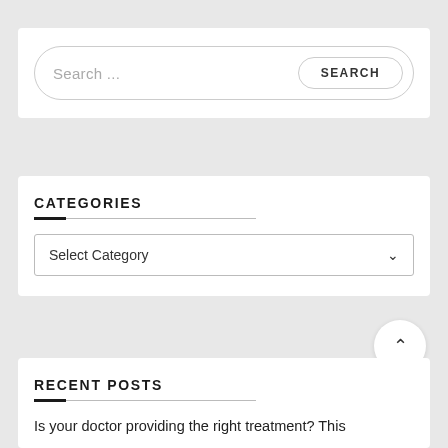[Figure (screenshot): Search bar with placeholder text 'Search ...' and a 'SEARCH' button on the right inside a rounded rectangle]
CATEGORIES
[Figure (screenshot): Dropdown select box with 'Select Category' and a chevron down arrow]
[Figure (other): Back to top circular button with upward chevron arrow]
RECENT POSTS
Is your doctor providing the right treatment? This